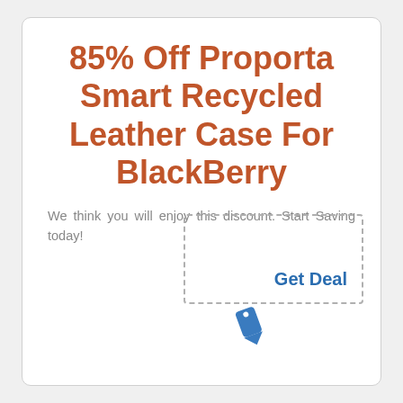85% Off Proporta Smart Recycled Leather Case For BlackBerry
We think you will enjoy this discount. Start Saving today!
[Figure (other): Dashed rectangular coupon box with 'Get Deal' text in blue and a blue price tag icon below]